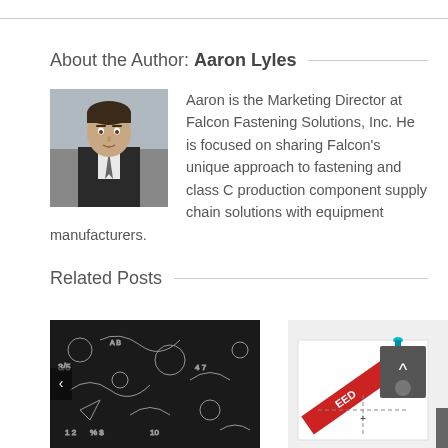About the Author: Aaron Lyles
[Figure (photo): Headshot of Aaron Lyles, a man in a dark suit and tie]
Aaron is the Marketing Director at Falcon Fastening Solutions, Inc. He is focused on sharing Falcon's unique approach to fastening and class C production component supply chain solutions with equipment manufacturers.
Related Posts
[Figure (photo): Chalkboard with chalk drawings and doodles]
[Figure (photo): Document or paper with a red diagonal banner, dashed lines, and a scroll-to-top button overlay]